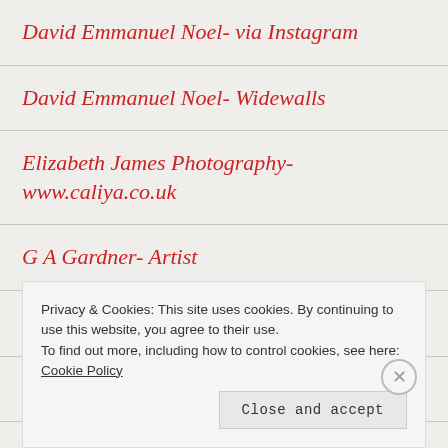David Emmanuel Noel- via Instagram
David Emmanuel Noel- Widewalls
Elizabeth James Photography- www.caliya.co.uk
G A Gardner- Artist
James Colah Productions
Jeff Price- Visual Artist
Kanika's Burdens on Amazon
Privacy & Cookies: This site uses cookies. By continuing to use this website, you agree to their use. To find out more, including how to control cookies, see here: Cookie Policy
Close and accept